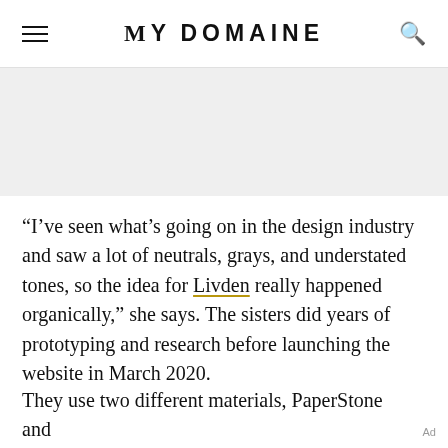MYDOMAINE
[Figure (other): Gray advertisement banner placeholder area]
“I’ve seen what’s going on in the design industry and saw a lot of neutrals, grays, and understated tones, so the idea for Livden really happened organically,” she says. The sisters did years of prototyping and research before launching the website in March 2020.
They use two different materials, PaperStone and
Ad